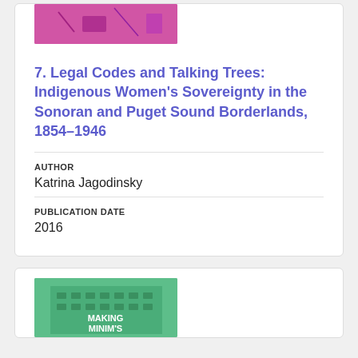[Figure (illustration): Book cover with pink background, partial view at top of page]
7. Legal Codes and Talking Trees: Indigenous Women's Sovereignty in the Sonoran and Puget Sound Borderlands, 1854–1946
AUTHOR
Katrina Jagodinsky
PUBLICATION DATE
2016
[Figure (illustration): Book cover with green background showing a building, text reads MAKING MINIM...]